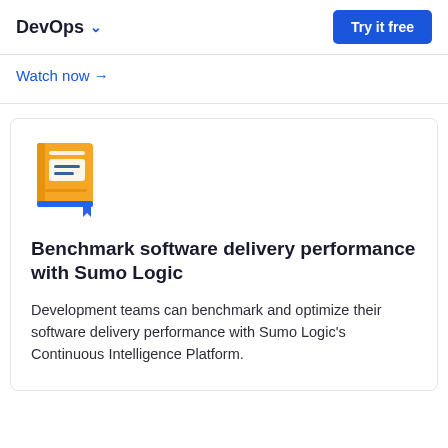DevOps ▾   Try it free
Watch now →
[Figure (illustration): Yellow book icon with blue bookmark and white lines on cover]
Benchmark software delivery performance with Sumo Logic
Development teams can benchmark and optimize their software delivery performance with Sumo Logic's Continuous Intelligence Platform.